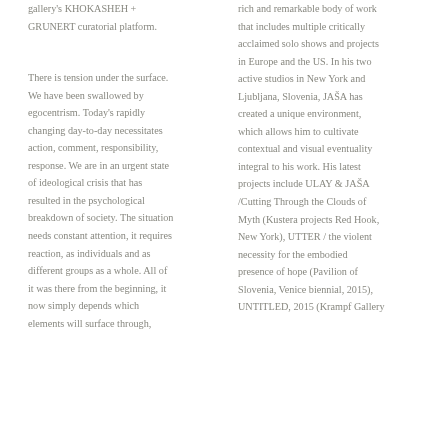gallery's KHOKASHEH + GRUNERT curatorial platform.
There is tension under the surface. We have been swallowed by egocentrism. Today's rapidly changing day-to-day necessitates action, comment, responsibility, response. We are in an urgent state of ideological crisis that has resulted in the psychological breakdown of society. The situation needs constant attention, it requires reaction, as individuals and as different groups as a whole. All of it was there from the beginning, it now simply depends which elements will surface through,
rich and remarkable body of work that includes multiple critically acclaimed solo shows and projects in Europe and the US. In his two active studios in New York and Ljubljana, Slovenia, JAŠA has created a unique environment, which allows him to cultivate contextual and visual eventuality integral to his work. His latest projects include ULAY & JAŠA /Cutting Through the Clouds of Myth (Kustera projects Red Hook, New York), UTTER / the violent necessity for the embodied presence of hope (Pavilion of Slovenia, Venice biennial, 2015), UNTITLED, 2015 (Krampf Gallery